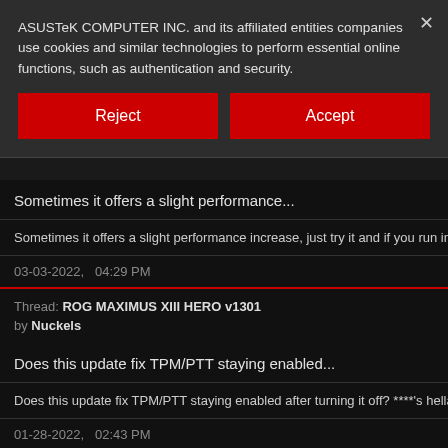ASUSTeK COMPUTER INC. and its affiliated entities companies use cookies and similar technologies to perform essential online functions, such as authentication and security.
Reject
Accept
Sometimes it offers a slight performance...
Sometimes it offers a slight performance increase, just try it and if you run in do know that 1201 and 0902 force enabled PTT/TPM2.0 and it woudn't turn o
03-03-2022,   04:29 PM
Thread: ROG MAXIMUS XIII HERO v1301
by Nuckels
Does this update fix TPM/PTT staying enabled...
Does this update fix TPM/PTT staying enabled after turning it off? ****'s hella
01-28-2022,   02:43 PM
Thread: Fed up with the ROG STRIX Z590 E GAMING